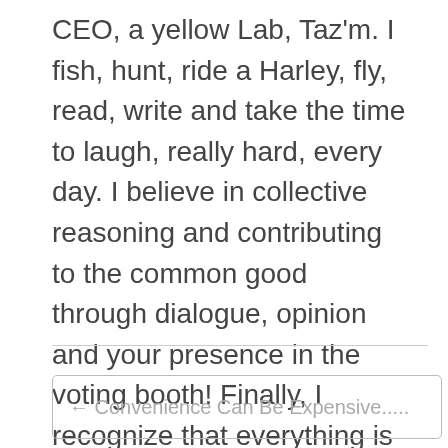CEO, a yellow Lab, Taz'm. I fish, hunt, ride a Harley, fly, read, write and take the time to laugh, really hard, every day. I believe in collective reasoning and contributing to the common good through dialogue, opinion and your presence in the voting booth! Finally, I recognize that everything is important to someone! View all posts by srj641
← Convenience Can Be Expensive.....